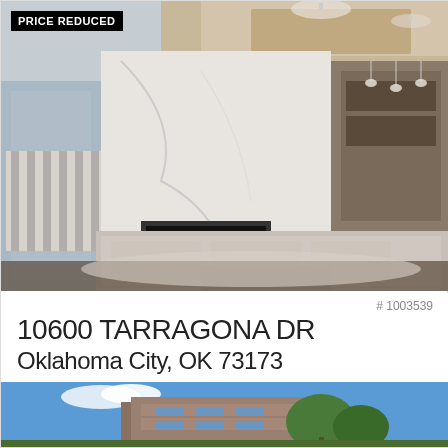[Figure (photo): Interior photo of a luxury living room with white marble fireplace, large sectional sofa, coffered ceiling, chandelier, and kitchen visible in background. PRICE REDUCED badge overlaid top-left.]
PRICE REDUCED
# 1003539
10600 TARRAGONA DR
Oklahoma City, OK 73173
6 Beds | 5 Baths | 6213 sq.ft. | Single-Family
♡ $839,000 ● Active
[Figure (photo): Exterior photo of a modern multi-story brick building with balconies and trees under a blue sky.]